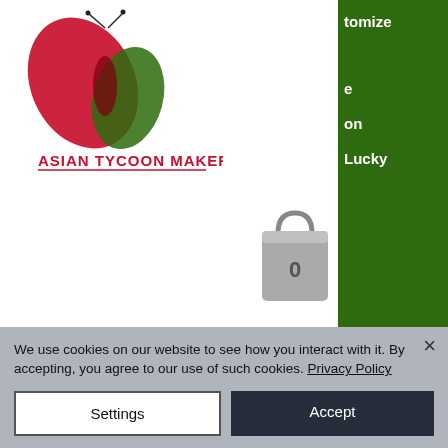[Figure (logo): Asian Tycoon Maker logo with red butterfly/flame and green leaf, red text ASIAN TYCOON MAKER below]
[Figure (screenshot): Green hamburger menu button icon on dark green background]
[Figure (screenshot): Navigation menu panel on right showing partial text: tomize, e, on, Lucky]
[Figure (screenshot): Grey shopping bag icon with number 0]
Only after starting my channel did I realize how important it is for the channels I like and also how easy it is. I would have been liking and subscribing to channels years ago if had known there was nothing else to it, pokemon gold guy on lucky slot machine. I thought subscribing meant I had to fill out a form or something. Nope, just means you are
We use cookies on our website to see how you interact with it. By accepting, you agree to our use of such cookies. Privacy Policy
Settings
Accept